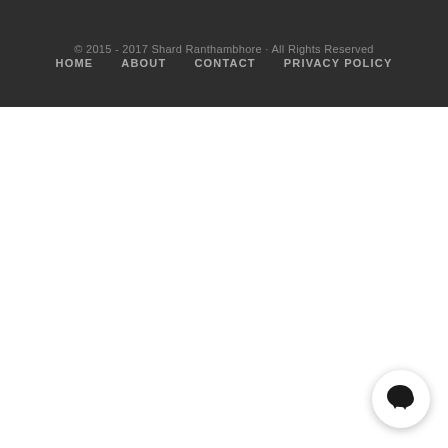© 2015 - 2017 Shard Ranthambhore · All Rights Reserved
HOME   ABOUT   CONTACT   PRIVACY POLICY
[Figure (illustration): Chat bubble icon button in bottom right corner, circular white button with dark speech bubble icon]